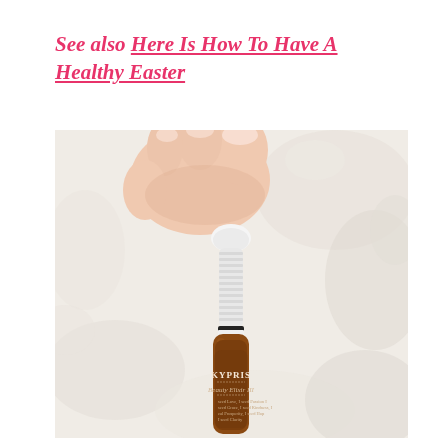See also  Here Is How To Have A Healthy Easter
[Figure (photo): A hand holding a small dropper bottle of KYPRIS Beauty Elixir III skincare serum in a dark amber glass bottle with a white dropper cap, against a white fluffy background.]